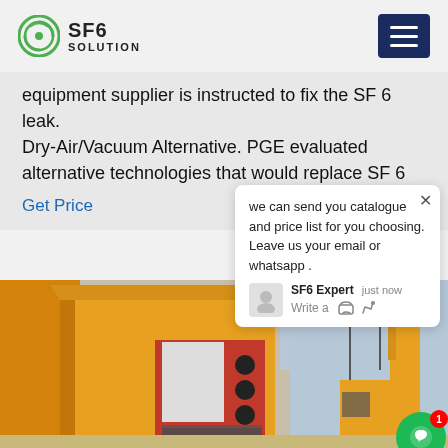SF6 SOLUTION
equipment supplier is instructed to fix the SF 6 leak. Dry-Air/Vacuum Alternative. PGE evaluated alternative technologies that would replace SF 6
Get Price
we can send you catalogue and price list for you choosing.
Leave us your email or whatsapp .
SF6 Expert   just now
Write a
[Figure (photo): Industrial SF6 gas handling equipment on a yellow vehicle/truck, with high-voltage electrical substation equipment visible in the background. Shows red and grey machinery with ventilation grilles.]